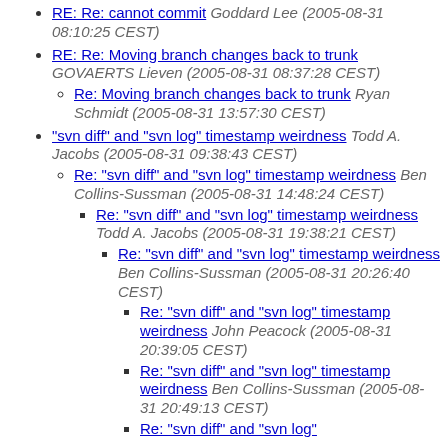RE: Re: cannot commit Goddard Lee (2005-08-31 08:10:25 CEST)
RE: Re: Moving branch changes back to trunk GOVAERTS Lieven (2005-08-31 08:37:28 CEST)
Re: Moving branch changes back to trunk Ryan Schmidt (2005-08-31 13:57:30 CEST)
"svn diff" and "svn log" timestamp weirdness Todd A. Jacobs (2005-08-31 09:38:43 CEST)
Re: "svn diff" and "svn log" timestamp weirdness Ben Collins-Sussman (2005-08-31 14:48:24 CEST)
Re: "svn diff" and "svn log" timestamp weirdness Todd A. Jacobs (2005-08-31 19:38:21 CEST)
Re: "svn diff" and "svn log" timestamp weirdness Ben Collins-Sussman (2005-08-31 20:26:40 CEST)
Re: "svn diff" and "svn log" timestamp weirdness John Peacock (2005-08-31 20:39:05 CEST)
Re: "svn diff" and "svn log" timestamp weirdness Ben Collins-Sussman (2005-08-31 20:49:13 CEST)
Re: "svn diff" and "svn log"